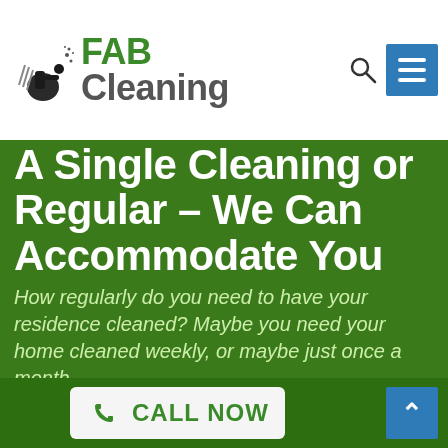[Figure (logo): FAB Cleaning logo with cleaning equipment icon on the left and green FAB / grey Cleaning text on the right]
A Single Cleaning or Regular – We Can Accommodate You
How regularly do you need to have your residence cleaned? Maybe you need your home cleaned weekly, or maybe just once a month.
Here at House Cleaning Melbourne, we can offer you with an one-time clean-up, or we will establish a regular cleaning plan for your home. No matter what your wants, House Cleaning Melbourne is here for you.